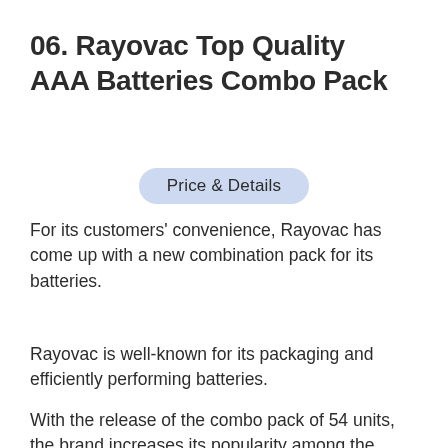06. Rayovac Top Quality AAA Batteries Combo Pack
Price & Details
For its customers' convenience, Rayovac has come up with a new combination pack for its batteries.
Rayovac is well-known for its packaging and efficiently performing batteries.
With the release of the combo pack of 54 units, the brand increases its popularity among the masses. Thus, the package is ideal for those who require an adequate